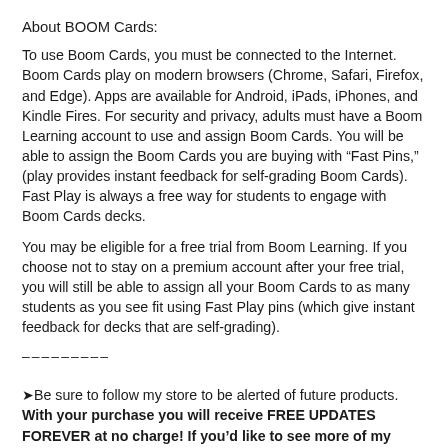About BOOM Cards:
To use Boom Cards, you must be connected to the Internet. Boom Cards play on modern browsers (Chrome, Safari, Firefox, and Edge). Apps are available for Android, iPads, iPhones, and Kindle Fires. For security and privacy, adults must have a Boom Learning account to use and assign Boom Cards. You will be able to assign the Boom Cards you are buying with “Fast Pins,” (play provides instant feedback for self-grading Boom Cards). Fast Play is always a free way for students to engage with Boom Cards decks.
You may be eligible for a free trial from Boom Learning. If you choose not to stay on a premium account after your free trial, you will still be able to assign all your Boom Cards to as many students as you see fit using Fast Play pins (which give instant feedback for decks that are self-grading).
–––––––––
➤Be sure to follow my store to be alerted of future products. With your purchase you will receive FREE UPDATES FOREVER at no charge! If you’d like to see more of my resources, please follow me by clicking on the star near my name.